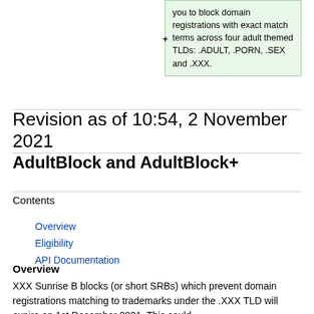you to block domain registrations with exact match terms across four adult themed TLDs: .ADULT, .PORN, .SEX and .XXX.
Revision as of 10:54, 2 November 2021
AdultBlock and AdultBlock+
Contents
Overview
Eligibility
API Documentation
Overview
XXX Sunrise B blocks (or short SRBs) which prevent domain registrations matching to trademarks under the .XXX TLD will expire on 1st December 2021. This could